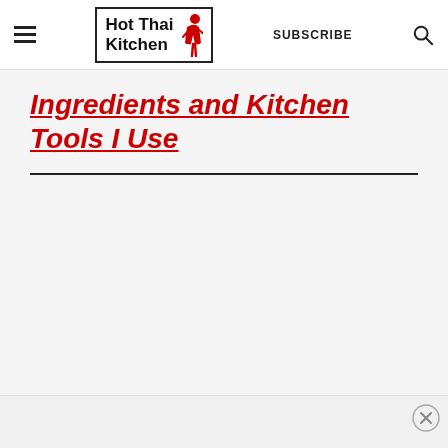Hot Thai Kitchen — navigation header with hamburger menu, logo, subscribe button, and search icon
Ingredients and Kitchen Tools I Use